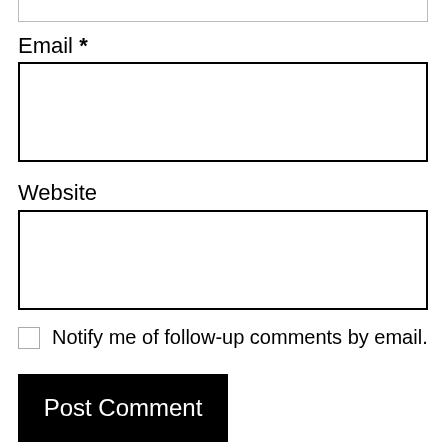Email *
Website
Notify me of follow-up comments by email.
Post Comment